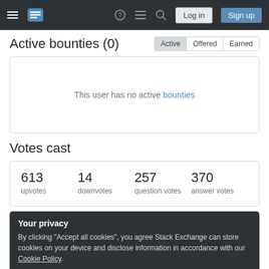Stack Exchange navigation bar with hamburger menu, logo, help, chat, search, Log in, Sign up
Active bounties (0)
This user has no active bounties
Votes cast
| 613 upvotes | 14 downvotes | 257 question votes | 370 answer votes |
| --- | --- | --- | --- |
Your privacy
By clicking "Accept all cookies", you agree Stack Exchange can store cookies on your device and disclose information in accordance with our Cookie Policy.
Accept all cookies  Customize settings